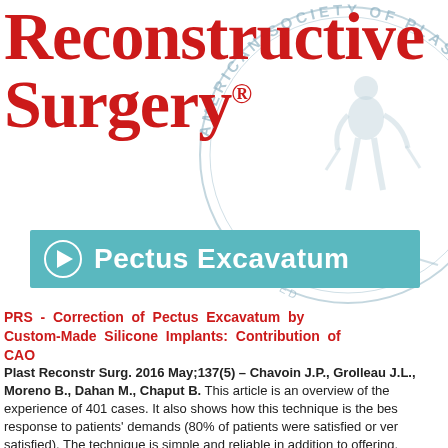[Figure (logo): Reconstructive Surgery journal logo with red bold serif text and American Society of Plastic Surgeons seal in grey in the background]
[Figure (infographic): Teal/cyan banner with play button circle icon and text 'Pectus Excavatum' in white bold font]
PRS - Correction of Pectus Excavatum by Custom-Made Silicone Implants: Contribution of CAO
Plast Reconstr Surg. 2016 May;137(5) - Chavoin J.P., Grolleau J.L., Moreno B., Dahan M., Chaput B. This article is an overview of the experience of 401 cases. It also shows how this technique is the best response to patients' demands (80% of patients were satisfied or very satisfied). The technique is simple and reliable in addition to offering.